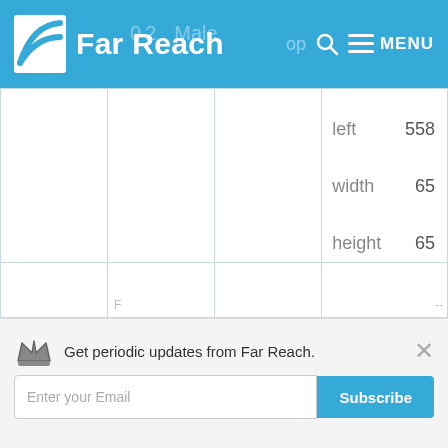Far Reach
|  |  |  |  |
| --- | --- | --- | --- |
|  |  |  | left  558
width  65
height  65 |
|  |  |  |  |
Get periodic updates from Far Reach.
Enter your Email
Subscribe